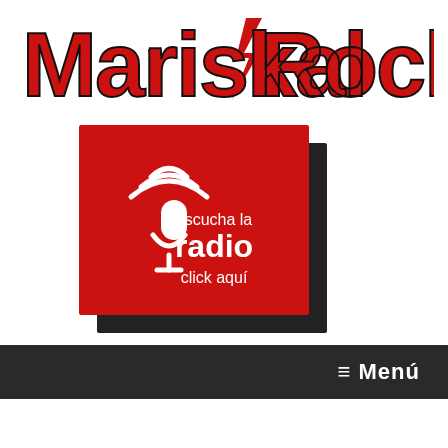[Figure (logo): Mariskal Rock logo in bold red and black text with lightning bolt between words]
[Figure (infographic): Red square button with white microphone icon and wifi waves, text 'escucha la radio click aquí' in white, with grey horizontal lines background on sides]
≡ Menú